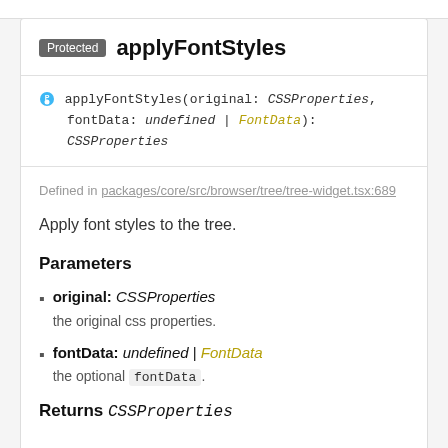Protected applyFontStyles
applyFontStyles(original: CSSProperties, fontData: undefined | FontData): CSSProperties
Defined in packages/core/src/browser/tree/tree-widget.tsx:689
Apply font styles to the tree.
Parameters
original: CSSProperties — the original css properties.
fontData: undefined | FontData — the optional fontData.
Returns CSSProperties